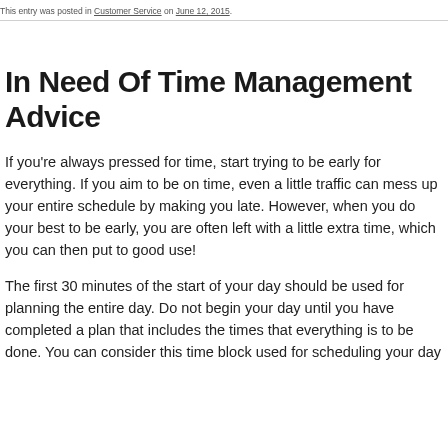This entry was posted in Customer Service on June 12, 2015.
In Need Of Time Management Advice
If you're always pressed for time, start trying to be early for everything. If you aim to be on time, even a little traffic can mess up your entire schedule by making you late. However, when you do your best to be early, you are often left with a little extra time, which you can then put to good use!
The first 30 minutes of the start of your day should be used for planning the entire day. Do not begin your day until you have completed a plan that includes the times that everything is to be done. You can consider this time block used for scheduling your day